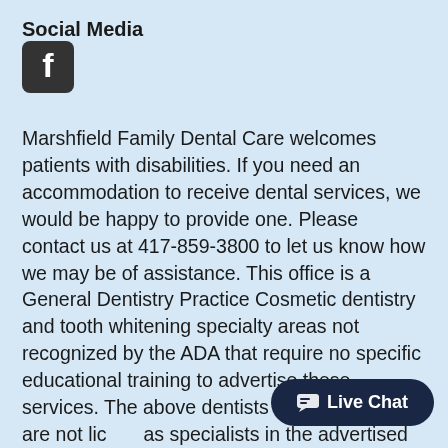Social Media
[Figure (logo): Facebook logo icon — rounded square with white 'f' on dark background]
Marshfield Family Dental Care welcomes patients with disabilities. If you need an accommodation to receive dental services, we would be happy to provide one. Please contact us at 417-859-3800 to let us know how we may be of assistance. This office is a General Dentistry Practice Cosmetic dentistry and tooth whitening specialty areas not recognized by the ADA that require no specific educational training to advertise these services. The above dentists in this practice are not lic… as specialists in the advertised den… Oral Surgery, Prosthodontics, Periodontics or